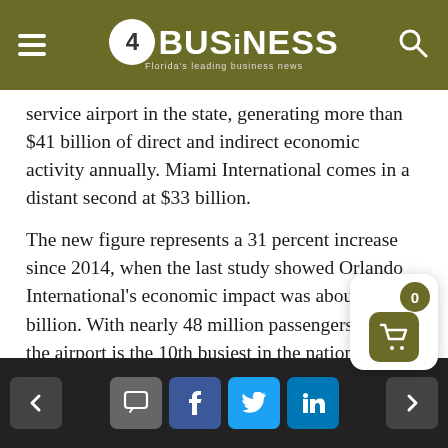4BUSiNESS - Florida's leading business news
service airport in the state, generating more than $41 billion of direct and indirect economic activity annually. Miami International comes in a distant second at $33 billion.
The new figure represents a 31 percent increase since 2014, when the last study showed Orlando International's economic impact was about $31 billion. With nearly 48 million passengers a year, the airport is the 10th busiest in the nation.
To the east, Port Canaveral is also growing, with 4.5 million cruise ship passengers and more than 6 million tons of cargo moving through annually as of 2018. The port has added a new Terminal 3
Navigation and social share buttons